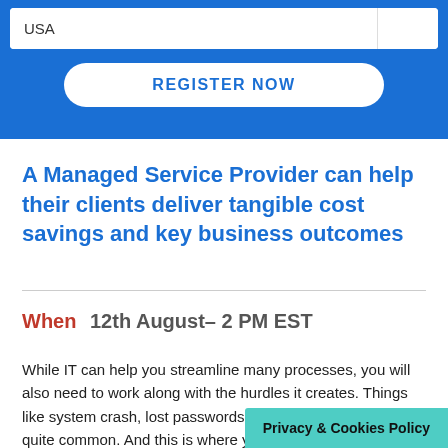[Figure (screenshot): Blue registration form area with USA input field and REGISTER NOW button]
A Managed Service Provider can help their clients deliver tangible cost savings and key business outcomes
When   12th August– 2 PM EST
While IT can help you streamline many processes, you will also need to work along with the hurdles it creates. Things like system crash, lost passwords, glitches in the email are quite common. And this is where you'd lik
Privacy & Cookies Policy